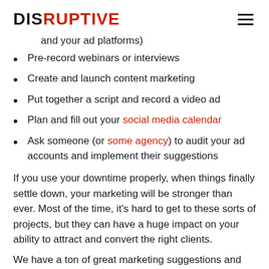DISRUPTIVE
and your ad platforms)
Pre-record webinars or interviews
Create and launch content marketing
Put together a script and record a video ad
Plan and fill out your social media calendar
Ask someone (or some agency) to audit your ad accounts and implement their suggestions
If you use your downtime properly, when things finally settle down, your marketing will be stronger than ever. Most of the time, it’s hard to get to these sorts of projects, but they can have a huge impact on your ability to attract and convert the right clients.
We have a ton of great marketing suggestions and